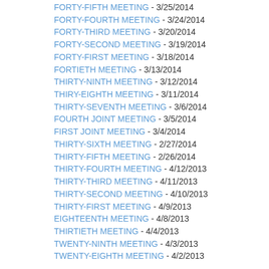FORTY-FIFTH MEETING - 3/25/2014
FORTY-FOURTH MEETING - 3/24/2014
FORTY-THIRD MEETING - 3/20/2014
FORTY-SECOND MEETING - 3/19/2014
FORTY-FIRST MEETING - 3/18/2014
FORTIETH MEETING - 3/13/2014
THIRTY-NINTH MEETING - 3/12/2014
THIRY-EIGHTH MEETING - 3/11/2014
THIRTY-SEVENTH MEETING - 3/6/2014
FOURTH JOINT MEETING - 3/5/2014
FIRST JOINT MEETING - 3/4/2014
THIRTY-SIXTH MEETING - 2/27/2014
THIRTY-FIFTH MEETING - 2/26/2014
THIRTY-FOURTH MEETING - 4/12/2013
THIRTY-THIRD MEETING - 4/11/2013
THIRTY-SECOND MEETING - 4/10/2013
THIRTY-FIRST MEETING - 4/9/2013
EIGHTEENTH MEETING - 4/8/2013
THIRTIETH MEETING - 4/4/2013
TWENTY-NINTH MEETING - 4/3/2013
TWENTY-EIGHTH MEETING - 4/2/2013